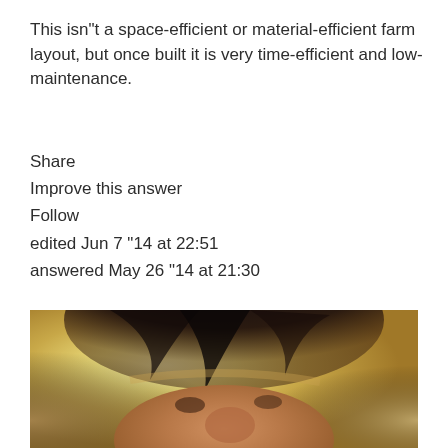This isn“t a space-efficient or material-efficient farm layout, but once built it is very time-efficient and low-maintenance.
Share
Improve this answer
Follow
edited Jun 7 “14 at 22:51
answered May 26 “14 at 21:30
[Figure (photo): Close-up selfie photo of a person looking up at the camera, showing dark hair and face from below, with yellowish ceiling/light in background.]